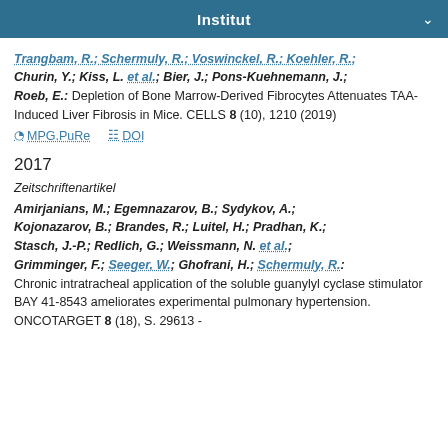Institut
Trangbam, R.; Schermuly, R.; Voswinckel, R.; Koehler, R.; Churin, Y.; Kiss, L. et al.; Bier, J.; Pons-Kuehnemann, J.; Roeb, E.: Depletion of Bone Marrow-Derived Fibrocytes Attenuates TAA-Induced Liver Fibrosis in Mice. CELLS 8 (10), 1210 (2019)
MPG.PuRe  DOI
2017
Zeitschriftenartikel
Amirjanians, M.; Egemnazarov, B.; Sydykov, A.; Kojonazarov, B.; Brandes, R.; Luitel, H.; Pradhan, K.; Stasch, J.-P.; Redlich, G.; Weissmann, N. et al.; Grimminger, F.; Seeger, W.; Ghofrani, H.; Schermuly, R.: Chronic intratracheal application of the soluble guanylyl cyclase stimulator BAY 41-8543 ameliorates experimental pulmonary hypertension. ONCOTARGET 8 (18), S. 29613 -